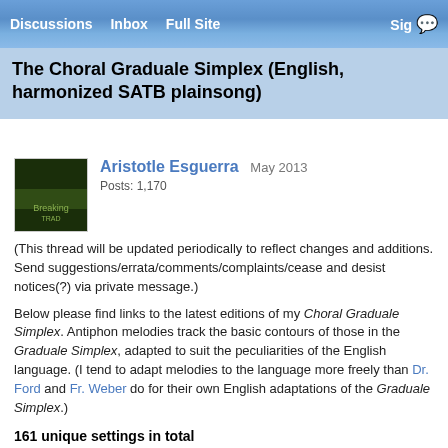Discussions   Inbox   Full Site   Sign
The Choral Graduale Simplex (English, harmonized SATB plainsong)
Aristotle Esguerra   May 2013
Posts: 1,170
(This thread will be updated periodically to reflect changes and additions. Send suggestions/errata/comments/complaints/cease and desist notices(?) via private message.)
Below please find links to the latest editions of my Choral Graduale Simplex. Antiphon melodies track the basic contours of those in the Graduale Simplex, adapted to suit the peculiarities of the English language. (I tend to adapt melodies to the language more freely than Dr. Ford and Fr. Weber do for their own English adaptations of the Graduale Simplex.)
161 unique settings in total
Proper of Seasons — complete
Advent & Christmas Time (26 + 6 high-key transpositions; includes Immaculate Conception)
Lent (33 + 4 high-key transpositions; includes Chrism Mass)